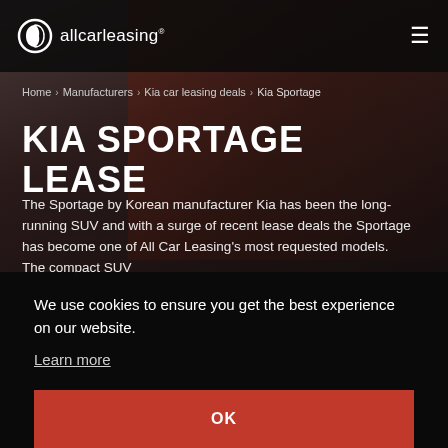allcarleasing
Home > Manufacturers > Kia car leasing deals > Kia Sportage
KIA SPORTAGE LEASE
The Sportage by Korean manufacturer Kia has been the long-running SUV and with a surge of recent lease deals the Sportage has become one of All Car Leasing's most requested models. The compact SUV
We use cookies to ensure you get the best experience on our website.
Learn more
OK